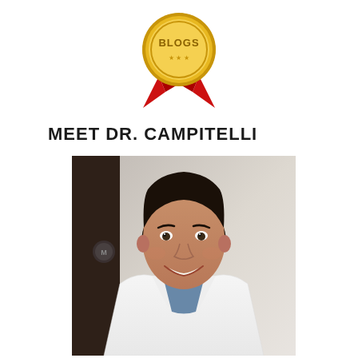[Figure (illustration): Gold and red award badge/ribbon with the text BLOGS written on it]
MEET DR. CAMPITELLI
[Figure (photo): Professional headshot photograph of Dr. Campitelli, a smiling man wearing a white doctor's coat over blue scrubs, photographed in a clinical/office setting with a dark door visible in the background]